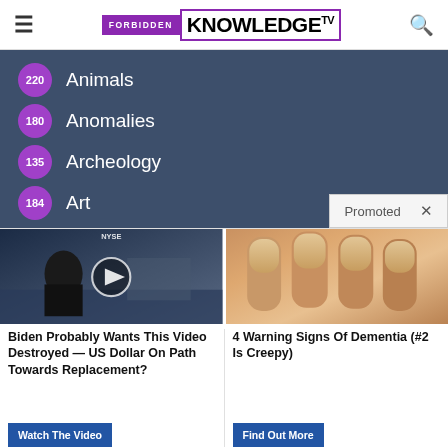FORBIDDEN KNOWLEDGE TV
220 Animals
180 Anomalies
135 Archeology
184 Art
Promoted X
[Figure (screenshot): Video thumbnail showing a man on a TV set with NYSE visible, with a play button overlay]
[Figure (photo): Close-up photo of fingernails/fingers]
Biden Probably Wants This Video Destroyed — US Dollar On Path Towards Replacement?
Watch The Video
4 Warning Signs Of Dementia (#2 Is Creepy)
Find Out More